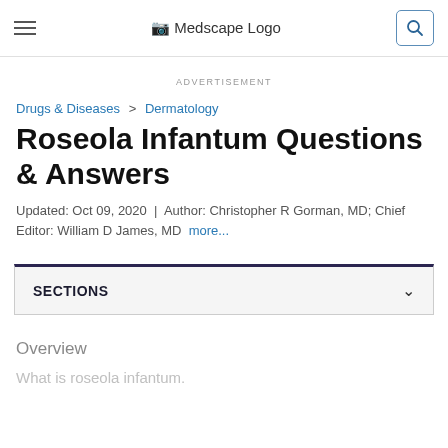Medscape Logo
ADVERTISEMENT
Drugs & Diseases > Dermatology
Roseola Infantum Questions & Answers
Updated: Oct 09, 2020 | Author: Christopher R Gorman, MD; Chief Editor: William D James, MD more...
SECTIONS
Overview
What is roseola infantum.